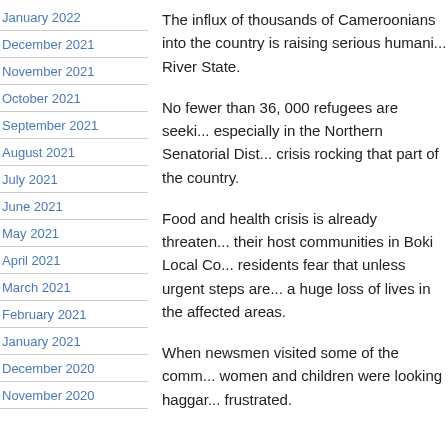January 2022
December 2021
November 2021
October 2021
September 2021
August 2021
July 2021
June 2021
May 2021
April 2021
March 2021
February 2021
January 2021
December 2020
November 2020
The influx of thousands of Cameroonians into the country is raising serious humani... River State.
No fewer than 36, 000 refugees are seeki... especially in the Northern Senatorial Dist... crisis rocking that part of the country.
Food and health crisis is already threaten... their host communities in Boki Local Co... residents fear that unless urgent steps are... a huge loss of lives in the affected areas.
When newsmen visited some of the comm... women and children were looking haggar... frustrated.